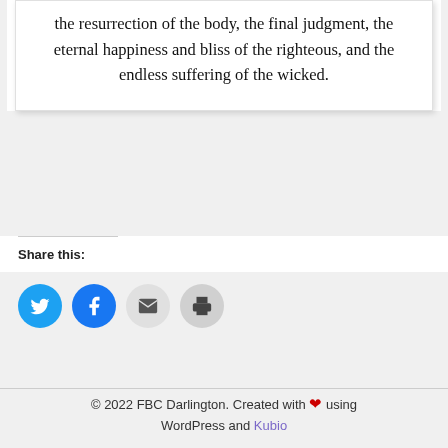the resurrection of the body, the final judgment, the eternal happiness and bliss of the righteous, and the endless suffering of the wicked.
Share this:
[Figure (infographic): Four social sharing icon buttons: Twitter (blue circle with bird icon), Facebook (blue circle with f icon), Email (light gray circle with envelope icon), Print (gray circle with printer icon)]
© 2022 FBC Darlington. Created with ❤ using WordPress and Kubio